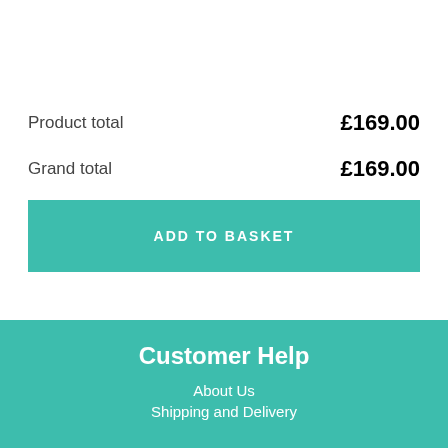|  |  |
| --- | --- |
| Product total | £169.00 |
| Grand total | £169.00 |
ADD TO BASKET
Customer Help
About Us
Shipping and Delivery